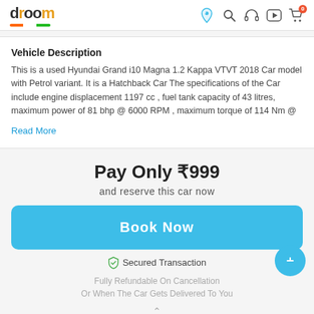droom
Vehicle Description
This is a used Hyundai Grand i10 Magna 1.2 Kappa VTVT 2018 Car model with Petrol variant. It is a Hatchback Car The specifications of the Car include engine displacement 1197 cc , fuel tank capacity of 43 litres, maximum power of 81 bhp @ 6000 RPM , maximum torque of 114 Nm @
Read More
Pay Only ₹999
and reserve this car now
Book Now
Secured Transaction
Fully Refundable On Cancellation Or When The Car Gets Delivered To You